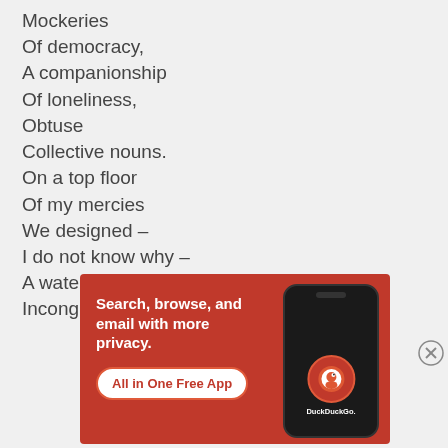Mockeries
Of democracy,
A companionship
Of loneliness,
Obtuse
Collective nouns.
On a top floor
Of my mercies
We designed –
I do not know why –
A water feature,
Incongruous
Advertisements
[Figure (other): DuckDuckGo advertisement banner with orange/red background. Text reads 'Search, browse, and email with more privacy. All in One Free App' with DuckDuckGo logo and phone graphic.]